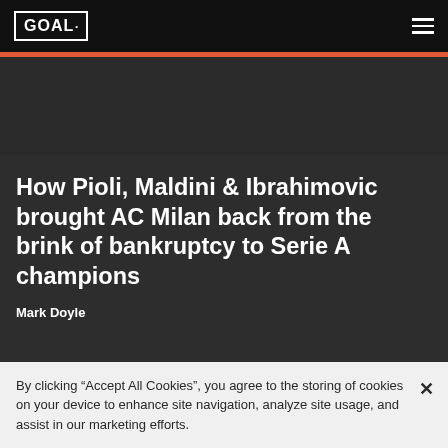GOAL
How Pioli, Maldini & Ibrahimovic brought AC Milan back from the brink of bankruptcy to Serie A champions
Mark Doyle
By clicking “Accept All Cookies”, you agree to the storing of cookies on your device to enhance site navigation, analyze site usage, and assist in our marketing efforts.